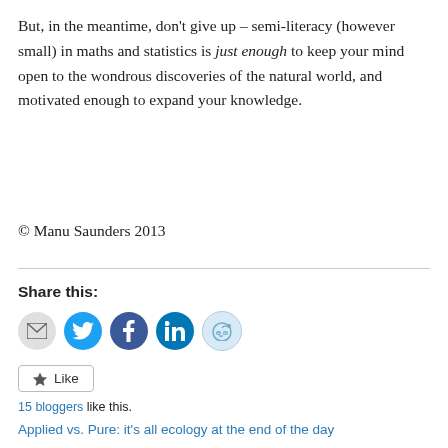But, in the meantime, don't give up – semi-literacy (however small) in maths and statistics is just enough to keep your mind open to the wondrous discoveries of the natural world, and motivated enough to expand your knowledge.
© Manu Saunders 2013
Share this:
[Figure (infographic): Social share buttons: email (grey), Twitter (cyan), Facebook (blue), LinkedIn (dark blue), Reddit (light blue)]
★ Like
15 bloggers like this.
Applied vs. Pure: it's all ecology at the end of the day — August 27, 2017